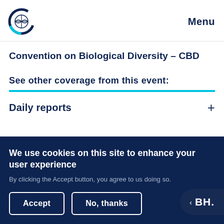[Figure (logo): Circular globe logo with dark blue and cyan colors]
Menu
Convention on Biological Diversity – CBD
See other coverage from this event:
Daily reports
We use cookies on this site to enhance your user experience
By clicking the Accept button, you agree to us doing so.
Accept
No, thanks